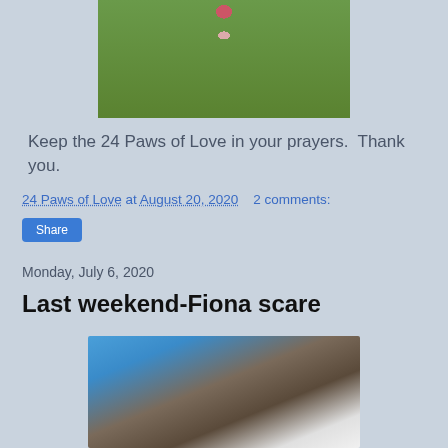[Figure (photo): Top portion of a photo showing grass with a small animal or object visible]
Keep the 24 Paws of Love in your prayers.  Thank you.
24 Paws of Love at August 20, 2020   2 comments:
Share
Monday, July 6, 2020
Last weekend-Fiona scare
[Figure (photo): Photo of a man lying on the ground in a blue shirt with a white dog or animal beside him]